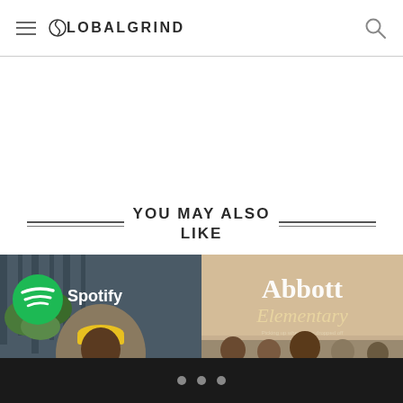GLOBALGRIND
YOU MAY ALSO LIKE
[Figure (photo): Person wearing yellow cap in front of Spotify logo signage with greenery in background]
[Figure (photo): Abbott Elementary TV show promotional image with cast members and title text]